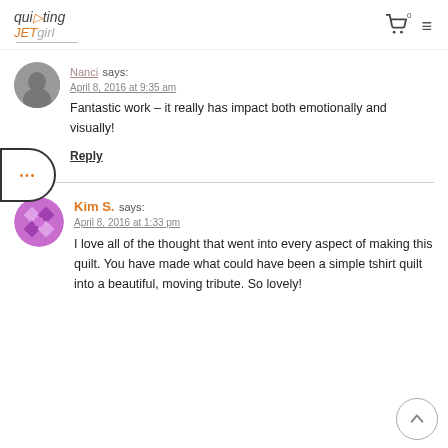quilting JETgirl [logo with cart and menu icons]
Nanci says:
April 8, 2016 at 9:35 am
Fantastic work – it really has impact both emotionally and visually!
Reply
Kim S. says:
April 8, 2016 at 1:33 pm
I love all of the thought that went into every aspect of making this quilt. You have made what could have been a simple tshirt quilt into a beautiful, moving tribute. So lovely!